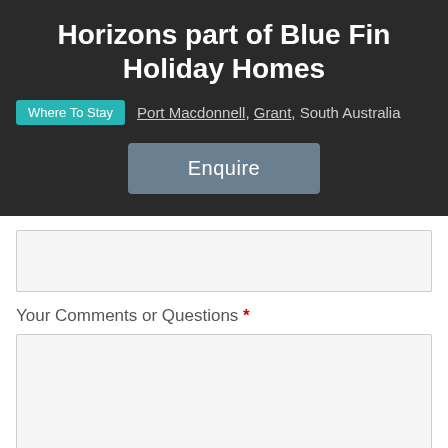Horizons part of Blue Fin Holiday Homes
Where To Stay   Port Macdonnell, Grant, South Australia
Enquire
Your Comments or Questions *